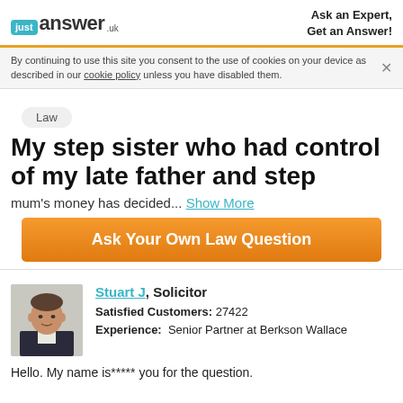JustAnswer UK — Ask an Expert, Get an Answer!
By continuing to use this site you consent to the use of cookies on your device as described in our cookie policy unless you have disabled them.
Law
My step sister who had control of my late father and step
mum's money has decided... Show More
Ask Your Own Law Question
[Figure (photo): Portrait photo of Stuart J, a solicitor, middle-aged man in dark suit]
Stuart J, Solicitor
Satisfied Customers: 27422
Experience: Senior Partner at Berkson Wallace
Hello. My name is***** you for the question.